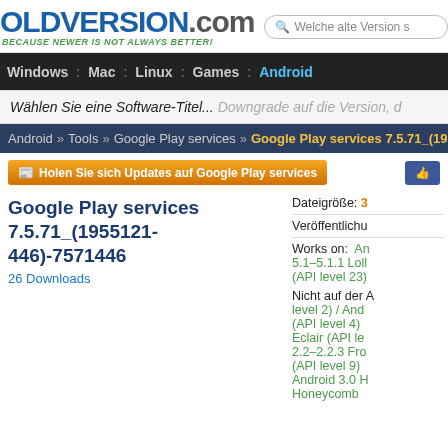OLDVERSION.com — BECAUSE NEWER IS NOT ALWAYS BETTER!
Windows : Mac : Linux : Games : Android
Wählen Sie eine Software-Titel... Downgrade auf die Version, d
Android » Tools » Google Play services » Google Play services 7.5.71_(19...
Holen Sie sich Updates auf Google Play services
Google Play services 7.5.71_(1955121-446)-7571446
26 Downloads
Dateigröße: 3
Veröffentlichu
Works on: An 5.1–5.1.1 Loll (API level 23)
Nicht auf der A level 2) / And (API level 4) Eclair (API le 2.2–2.2.3 Fro (API level 9) Android 3.0 H Honeycomb